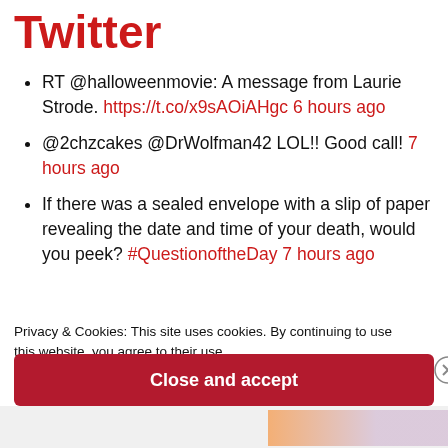Twitter
RT @halloweenmovie: A message from Laurie Strode. https://t.co/x9sAOiAHgc 6 hours ago
@2chzcakes @DrWolfman42 LOL!! Good call! 7 hours ago
If there was a sealed envelope with a slip of paper revealing the date and time of your death, would you peek? #QuestionoftheDay 7 hours ago
Privacy & Cookies: This site uses cookies. By continuing to use this website, you agree to their use.
To find out more, including how to control cookies, see here: Cookie Policy
Close and accept